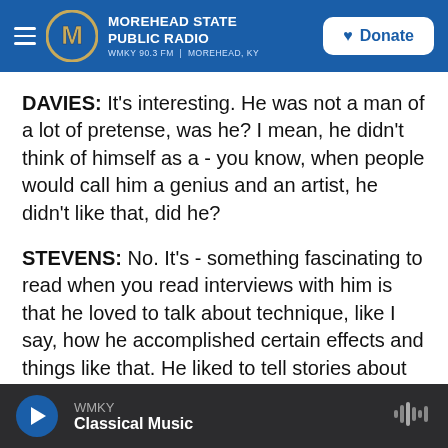Morehead State Public Radio — WMKY 90.3 FM | Morehead, KY — Donate
DAVIES: It's interesting. He was not a man of a lot of pretense, was he? I mean, he didn't think of himself as a - you know, when people would call him a genius and an artist, he didn't like that, did he?
STEVENS: No. It's - something fascinating to read when you read interviews with him is that he loved to talk about technique, like I say, how he accomplished certain effects and things like that. He liked to tell stories about his childhood. He was not resistant to speaking to interviewers, but he
WMKY — Classical Music